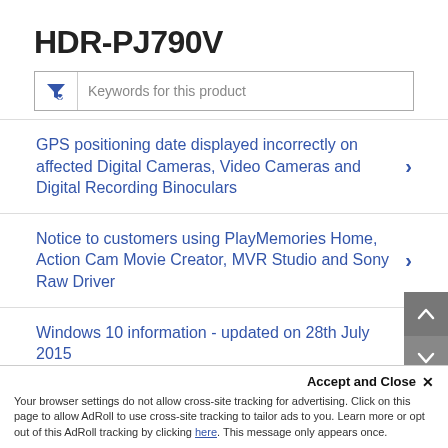HDR-PJ790V
Keywords for this product
GPS positioning date displayed incorrectly on affected Digital Cameras, Video Cameras and Digital Recording Binoculars
Notice to customers using PlayMemories Home, Action Cam Movie Creator, MVR Studio and Sony Raw Driver
Windows 10 information - updated on 28th July 2015
Accept and Close ✕
Your browser settings do not allow cross-site tracking for advertising. Click on this page to allow AdRoll to use cross-site tracking to tailor ads to you. Learn more or opt out of this AdRoll tracking by clicking here. This message only appears once.